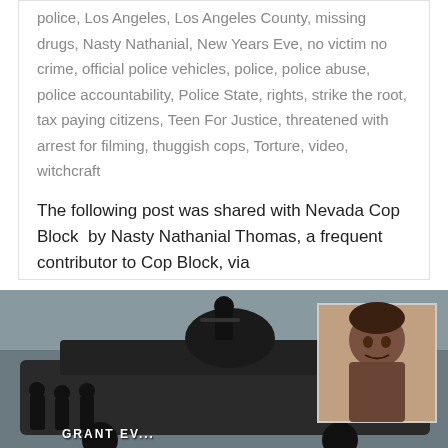police, Los Angeles, Los Angeles County, missing drugs, Nasty Nathanial, New Years Eve, no victim no crime, official police vehicles, police, police abuse, police accountability, Police State, rights, strike the root, tax paying citizens, Teen For Justice, threatened with arrest for filming, thuggish cops, Torture, video, witchcraft
The following post was shared with Nevada Cop Block  by Nasty Nathanial Thomas, a frequent contributor to Cop Block, via
Read more
[Figure (photo): SWAT team on armored vehicle with officer on top, and an inset portrait photo of a man. Text 'GRANT EV...' visible at bottom left.]